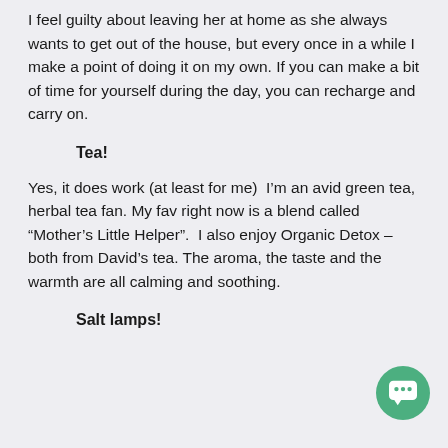I feel guilty about leaving her at home as she always wants to get out of the house, but every once in a while I make a point of doing it on my own. If you can make a bit of time for yourself during the day, you can recharge and carry on.
Tea!
Yes, it does work (at least for me)  I’m an avid green tea, herbal tea fan. My fav right now is a blend called “Mother’s Little Helper”.  I also enjoy Organic Detox – both from David’s tea. The aroma, the taste and the warmth are all calming and soothing.
Salt lamps!